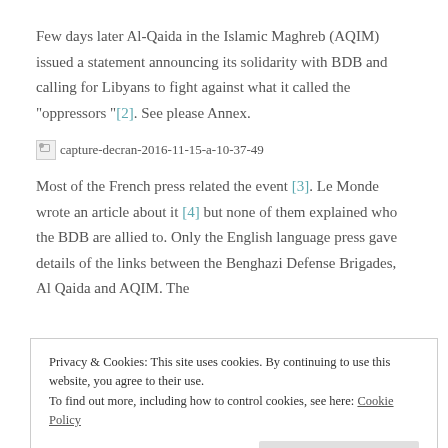Few days later Al-Qaida in the Islamic Maghreb (AQIM) issued a statement announcing its solidarity with BDB and calling for Libyans to fight against what it called the "oppressors "[2]. See please Annex.
[Figure (other): Broken image placeholder with filename: capture-decran-2016-11-15-a-10-37-49]
Most of the French press related the event [3]. Le Monde wrote an article about it [4] but none of them explained who the BDB are allied to. Only the English language press gave details of the links between the Benghazi Defense Brigades, Al Qaida and AQIM. The
Privacy & Cookies: This site uses cookies. By continuing to use this website, you agree to their use.
To find out more, including how to control cookies, see here: Cookie Policy
Close and accept
fighting against the Libyan National Army south of